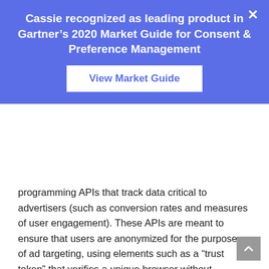Cassie recognized as leading product in Gartner’s 2020 Market Guide for Consent & Preference Management
View Market Guide
programming APIs that track data critical to advertisers (such as conversion rates and measures of user engagement). These APIs are meant to ensure that users are anonymized for the purposes of ad targeting, using elements such as a “trust token” that verifies a unique browser without identifying the person operating it. While the APIs would be Google’s own property at first, the company has said that it eventually wants to turn them into open web standards that can be used by other browsers.